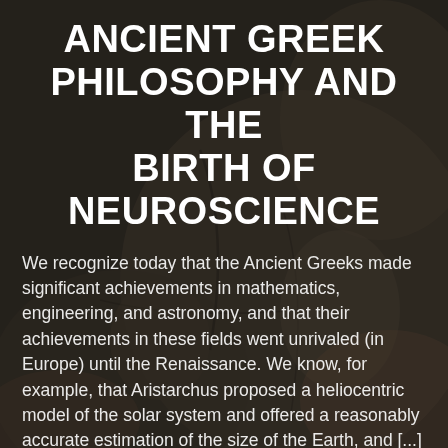[Figure (photo): Dark background image resembling ancient Greek pottery or relief sculpture, with muted brown and grey tones, showing fragmented figures and cracks.]
ANCIENT GREEK PHILOSOPHY AND THE BIRTH OF NEUROSCIENCE
We recognize today that the Ancient Greeks made significant achievements in mathematics, engineering, and astronomy, and that their achievements in these fields went unrivaled (in Europe) until the Renaissance. We know, for example, that Aristarchus proposed a heliocentric model of the solar system and offered a reasonably accurate estimation of the size of the Earth, and [...]
Read More